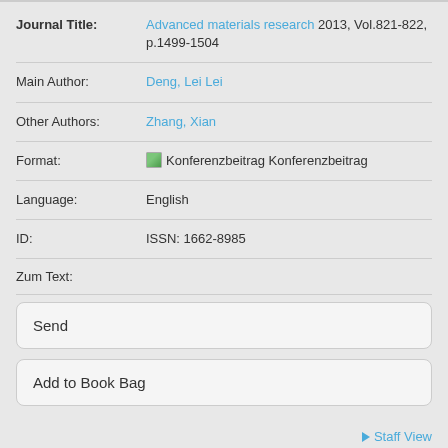| Field | Value |
| --- | --- |
| Journal Title: | Advanced materials research 2013, Vol.821-822, p.1499-1504 |
| Main Author: | Deng, Lei Lei |
| Other Authors: | Zhang, Xian |
| Format: | Konferenzbeitrag Konferenzbeitrag |
| Language: | English |
| ID: | ISSN: 1662-8985 |
| Zum Text: |  |
Send
Add to Book Bag
Staff View